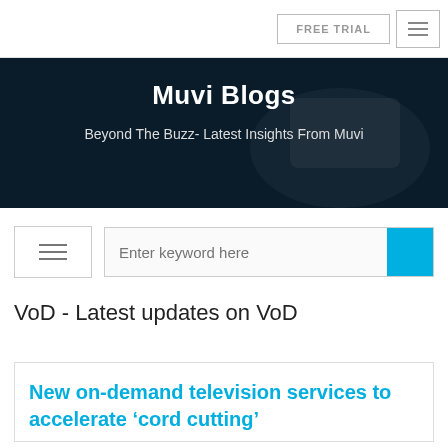FREE TRIAL
Muvi Blogs
Beyond The Buzz- Latest Insights From Muvi
Enter keyword here
VoD - Latest updates on VoD
New on-demand television services to accelerate ‘cord cutting’